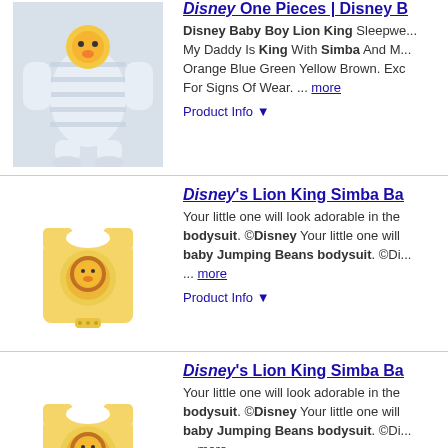[Figure (photo): Disney Baby Boy Lion King sleepwear outfit - striped white and blue with cartoon character]
Disney One Pieces | Disney B...
Disney Baby Boy Lion King Sleepwe... My Daddy Is King With Simba And M... Orange Blue Green Yellow Brown. Exc For Signs Of Wear. ... more
Product Info ▼
[Figure (photo): Yellow Disney Lion King Simba baby bodysuit onesie]
Disney's Lion King Simba Ba...
Your little one will look adorable in the bodysuit. ©Disney Your little one will baby Jumping Beans bodysuit. ©Di... ... more
Product Info ▼
[Figure (photo): Yellow Disney Lion King Simba baby bodysuit onesie]
Disney's Lion King Simba Ba...
Your little one will look adorable in the bodysuit. ©Disney Your little one will baby Jumping Beans bodysuit. ©Di... ... more
Product Info ▼
[Figure (photo): Yellow Disney Lion King Simba baby bodysuit onesie]
Disney's Lion King Simba Ba...
Your little one will look adorable in the bodysuit. ©Disney Your little one will baby Jumping Beans bodysuit. ©Di... ... more
Product Info ▼